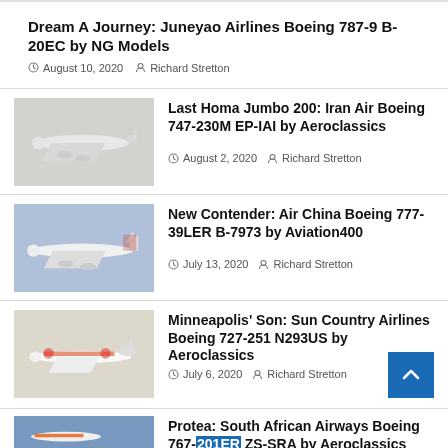Dream A Journey: Juneyao Airlines Boeing 787-9 B-20EC by NG Models
August 10, 2020   Richard Stretton
[Figure (photo): Scale model of Iran Air Boeing 747-230M EP-IAI on light background]
Last Homa Jumbo 200: Iran Air Boeing 747-230M EP-IAI by Aeroclassics
August 2, 2020   Richard Stretton
[Figure (photo): Scale model of Air China Boeing 777-39LER B-7973 on blue-grey background]
New Contender: Air China Boeing 777-39LER B-7973 by Aviation400
July 13, 2020   Richard Stretton
[Figure (photo): Scale model of Sun Country Airlines Boeing 727-251 N293US on light background]
Minneapolis' Son: Sun Country Airlines Boeing 727-251 N293US by Aeroclassics
July 6, 2020   Richard Stretton
[Figure (photo): Scale model of South African Airways Boeing 767 ZS-SRA on blue background]
Protea: South African Airways Boeing 767-201ER ZS-SRA by Aeroclassics